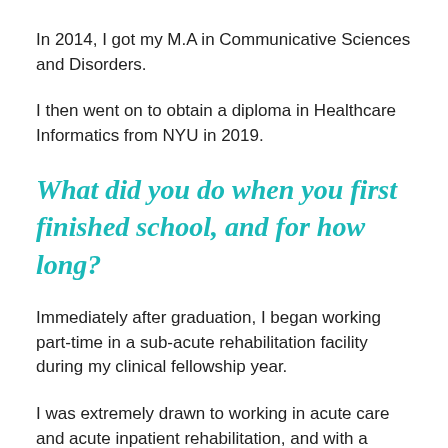In 2014, I got my M.A in Communicative Sciences and Disorders.
I then went on to obtain a diploma in Healthcare Informatics from NYU in 2019.
What did you do when you first finished school, and for how long?
Immediately after graduation, I began working part-time in a sub-acute rehabilitation facility during my clinical fellowship year.
I was extremely drawn to working in acute care and acute inpatient rehabilitation, and with a supportive supervisor, I